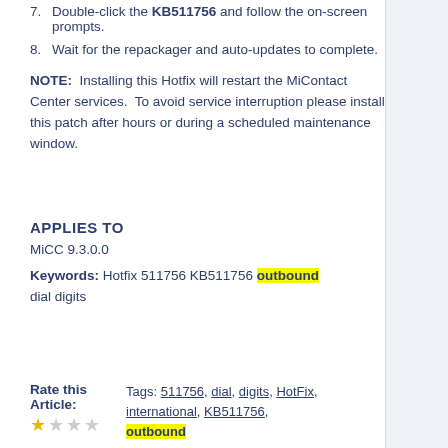7. Double-click the KB511756 and follow the on-screen prompts.
8. Wait for the repackager and auto-updates to complete.
NOTE: Installing this Hotfix will restart the MiContact Center services. To avoid service interruption please install this patch after hours or during a scheduled maintenance window.
APPLIES TO
MiCC 9.3.0.0
Keywords: Hotfix 511756 KB511756 outbound dial digits
Rate this Article:
Tags: 511756, dial, digits, HotFix, international, KB511756, outbound